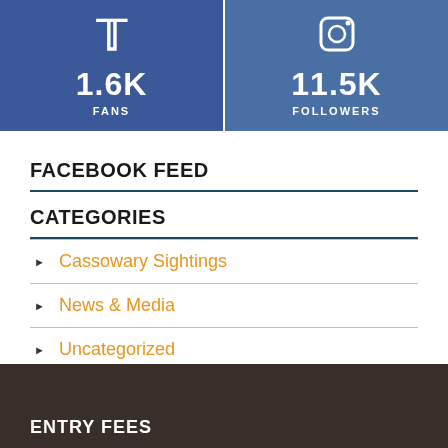[Figure (infographic): Two social media stat boxes side by side: Twitter with 1.6K FANS (blue background), Instagram with 11.5K FOLLOWERS (slightly lighter blue background)]
FACEBOOK FEED
CATEGORIES
Cassowary Sightings
News & Media
Uncategorized
ENTRY FEES